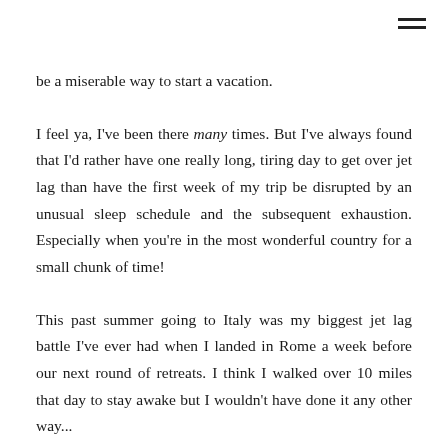be a miserable way to start a vacation.
I feel ya, I've been there many times. But I've always found that I'd rather have one really long, tiring day to get over jet lag than have the first week of my trip be disrupted by an unusual sleep schedule and the subsequent exhaustion. Especially when you're in the most wonderful country for a small chunk of time!
This past summer going to Italy was my biggest jet lag battle I've ever had when I landed in Rome a week before our next round of retreats. I think I walked over 10 miles that day to stay awake but I wouldn't have done it any other way...